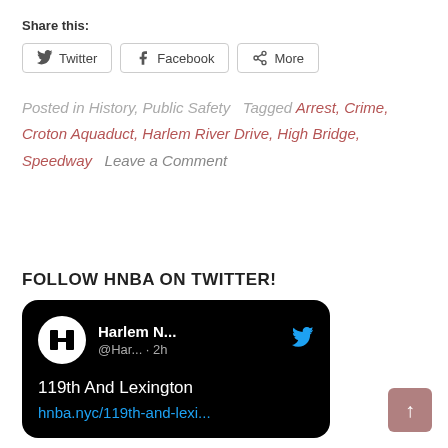Share this:
Twitter | Facebook | More
Posted in History, Public Safety   Tagged Arrest, Crime, Croton Aquaduct, Harlem River Drive, High Bridge, Speedway   Leave a Comment
FOLLOW HNBA ON TWITTER!
[Figure (screenshot): Tweet card with black background showing Harlem N... @Har... 2h, text '119th And Lexington' and link 'hnba.nyc/119th-and-lexi...']